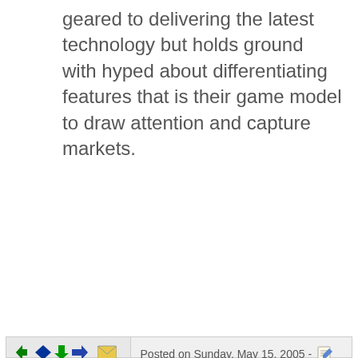geared to delivering the latest technology but holds ground with hyped about differentiating features that is their game model to draw attention and capture markets.
Posted on Sunday, May 15, 2005 - 17:17 GMT
JAW
Unregistered guest
My opinion hasn't changed:
Posted on Thursday, August 26, 2004 - 07:38 pm:
---------------------------------------- ---------------------------------------- --